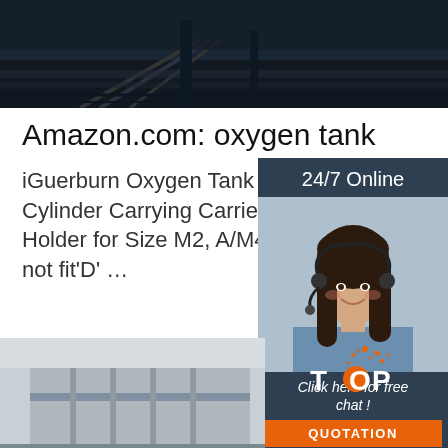[Figure (photo): Dark industrial/railroad scene, top of page]
Amazon.com: oxygen tank
iGuerburn Oxygen Tank Backpack Portable Cylinder Carrying Carrier Bag Medical Oxygen Holder for Size M2, A/M4, ML6, B/M6, M not fit'D' …
[Figure (infographic): 24/7 Online chat widget with woman wearing headset, 'Click here for free chat!' text, and orange QUOTATION button]
Get Price
[Figure (photo): Building exterior with gray sky and orange TOP logo in bottom right corner]